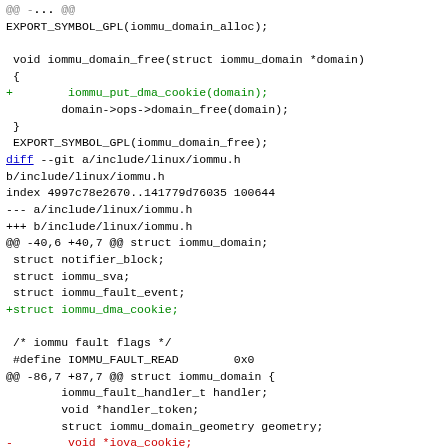EXPORT_SYMBOL_GPL(iommu_domain_alloc);

 void iommu_domain_free(struct iommu_domain *domain)
 {
+        iommu_put_dma_cookie(domain);
        domain->ops->domain_free(domain);
 }
 EXPORT_SYMBOL_GPL(iommu_domain_free);
diff --git a/include/linux/iommu.h b/include/linux/iommu.h
index 4997c78e2670..141779d76035 100644
--- a/include/linux/iommu.h
+++ b/include/linux/iommu.h
@@ -40,6 +40,7 @@ struct iommu_domain;
 struct notifier_block;
 struct iommu_sva;
 struct iommu_fault_event;
+struct iommu_dma_cookie;

 /* iommu fault flags */
 #define IOMMU_FAULT_READ        0x0
@@ -86,7 +87,7 @@ struct iommu_domain {
        iommu_fault_handler_t handler;
        void *handler_token;
        struct iommu_domain_geometry geometry;
-        void *iova_cookie;
+        struct iommu_dma_cookie *iova_cookie;
 };

 enum iommu_cap {